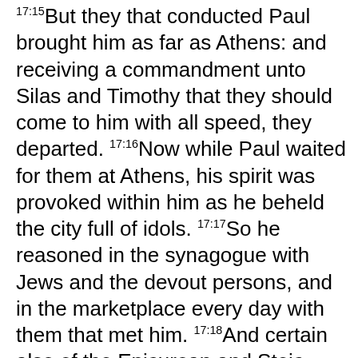17:15But they that conducted Paul brought him as far as Athens: and receiving a commandment unto Silas and Timothy that they should come to him with all speed, they departed. 17:16Now while Paul waited for them at Athens, his spirit was provoked within him as he beheld the city full of idols. 17:17So he reasoned in the synagogue with Jews and the devout persons, and in the marketplace every day with them that met him. 17:18And certain also of the Epicurean and Stoic philosophers encountered him. And some said, What would this babbler say? others, He seemeth to be a setter forth of strange gods: because he preached Jesus and the resurrection. 17:19And they took hold of him, and brought him unto the Areopagus, saying, May we know what this new teaching is, which is spoken by thee? 17:20For thou bringest certain strange things